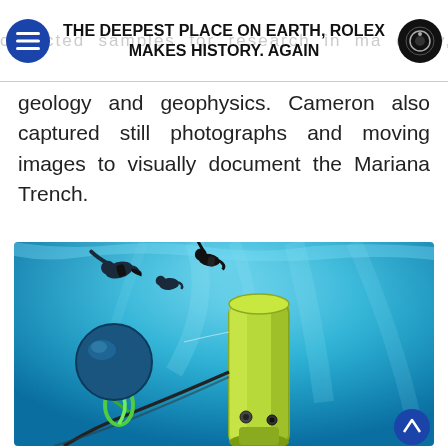THE DEEPEST PLACE ON EARTH, ROLEX MAKES HISTORY. AGAIN
geology and geophysics. Cameron also captured still photographs and moving images to visually document the Mariana Trench.
[Figure (photo): Underwater photograph showing divers and a large cylindrical deep-sea submersible (green/yellow) in clear blue ocean water. Divers are silhouetted above the vessel. A green carabiner and cable are visible on the left side.]